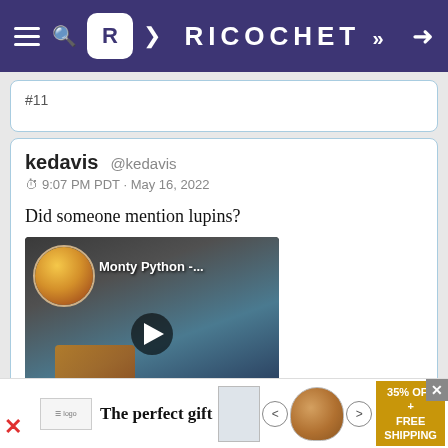RICOCHET
#11
kedavis @kedavis
9:07 PM PDT · May 16, 2022

Did someone mention lupins?
[Figure (screenshot): YouTube video thumbnail for Monty Python with play button overlay and channel avatar]
[Figure (infographic): Advertisement banner: The perfect gift - 35% OFF + FREE SHIPPING]